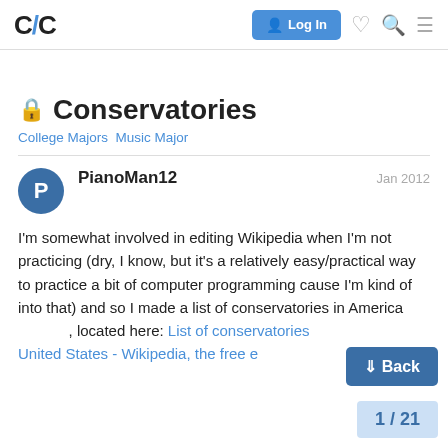C/C  Log In
🔒 Conservatories
College Majors Music Major
PianoMan12  Jan 2012
I'm somewhat involved in editing Wikipedia when I'm not practicing (dry, I know, but it's a relatively easy/practical way to practice a bit of computer programming cause I'm kind of into that) and so I made a list of conservatories in America, located here: List of conservatories in the United States - Wikipedia, the free e…